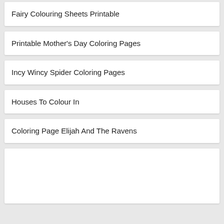Fairy Colouring Sheets Printable
Printable Mother's Day Coloring Pages
Incy Wincy Spider Coloring Pages
Houses To Colour In
Coloring Page Elijah And The Ravens
[Figure (other): Empty white card placeholder]